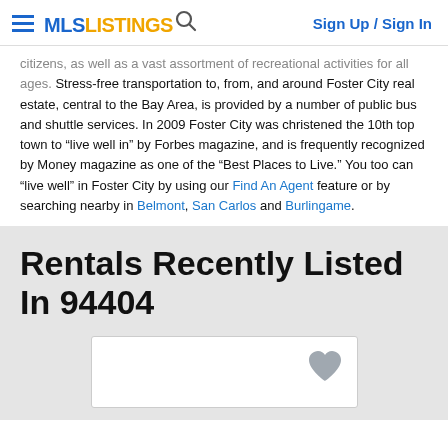MLS LISTINGS | Sign Up / Sign In
citizens, as well as a vast assortment of recreational activities for all ages. Stress-free transportation to, from, and around Foster City real estate, central to the Bay Area, is provided by a number of public bus and shuttle services. In 2009 Foster City was christened the 10th top town to “live well in” by Forbes magazine, and is frequently recognized by Money magazine as one of the “Best Places to Live.” You too can “live well” in Foster City by using our Find An Agent feature or by searching nearby in Belmont, San Carlos and Burlingame.
Rentals Recently Listed In 94404
[Figure (other): A listing card placeholder with a heart/favorite icon in the top right corner]